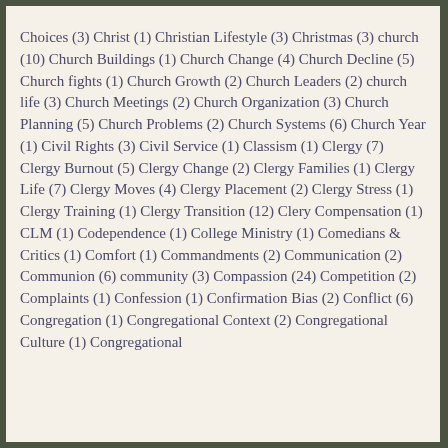Choices (3) Christ (1) Christian Lifestyle (3) Christmas (3) church (10) Church Buildings (1) Church Change (4) Church Decline (5) Church fights (1) Church Growth (2) Church Leaders (2) church life (3) Church Meetings (2) Church Organization (3) Church Planning (5) Church Problems (2) Church Systems (6) Church Year (1) Civil Rights (3) Civil Service (1) Classism (1) Clergy (7) Clergy Burnout (5) Clergy Change (2) Clergy Families (1) Clergy Life (7) Clergy Moves (4) Clergy Placement (2) Clergy Stress (1) Clergy Training (1) Clergy Transition (12) Clery Compensation (1) CLM (1) Codependence (1) College Ministry (1) Comedians & Critics (1) Comfort (1) Commandments (2) Communication (2) Communion (6) community (3) Compassion (24) Competition (2) Complaints (1) Confession (1) Confirmation Bias (2) Conflict (6) Congregation (1) Congregational Context (2) Congregational Culture (1) Congregational